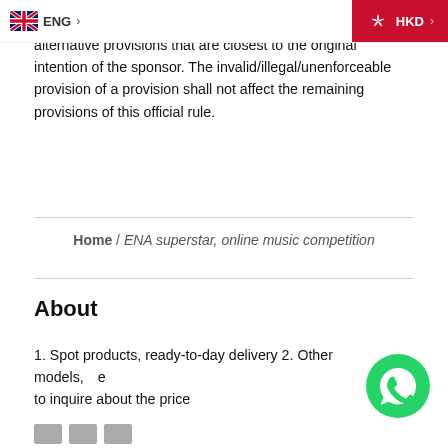ENG > | HKD >
e replaced by effective, legal and enforceable alternative provisions that are closest to the original intention of the sponsor. The invalid/illegal/unenforceable provision of a provision shall not affect the remaining provisions of this official rule.
Home / ENA superstar, online music competition
About
1. Spot products, ready-to-day delivery 2. Other models, to inquire about the price